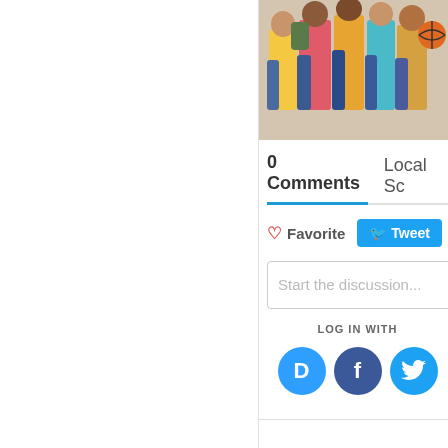[Figure (photo): Group of students with backpacks and books, partially visible, cropped at top of page]
0 Comments
Local Sc
Favorite
Tweet
Start the discussion...
LOG IN WITH